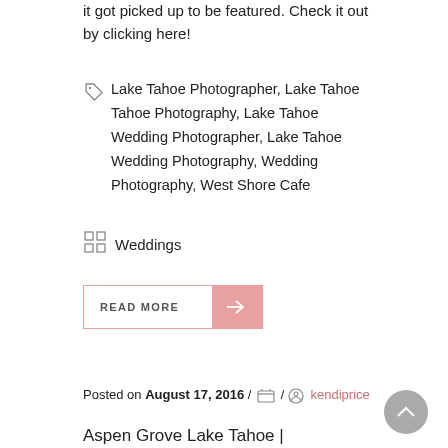it got picked up to be featured. Check it out by clicking here!
Lake Tahoe Photographer, Lake Tahoe Photography, Lake Tahoe Wedding Photographer, Lake Tahoe Wedding Photography, Wedding Photography, West Shore Cafe
Weddings
READ MORE →
Posted on August 17, 2016 / / kendiprice
Aspen Grove Lake Tahoe |